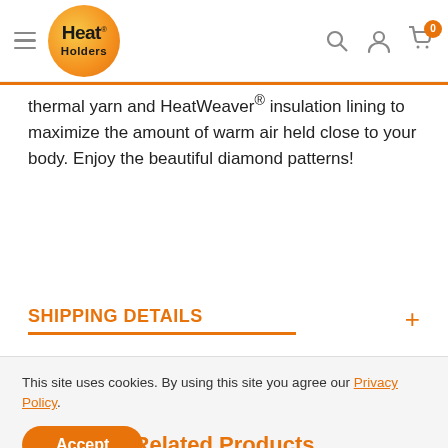[Figure (logo): Heat Holders logo - orange circle with Heat Holders text]
thermal yarn and HeatWeaver® insulation lining to maximize the amount of warm air held close to your body. Enjoy the beautiful diamond patterns!
DESCRIPTION
SHIPPING DETAILS
This site uses cookies. By using this site you agree our Privacy Policy.
Accept
Related Products